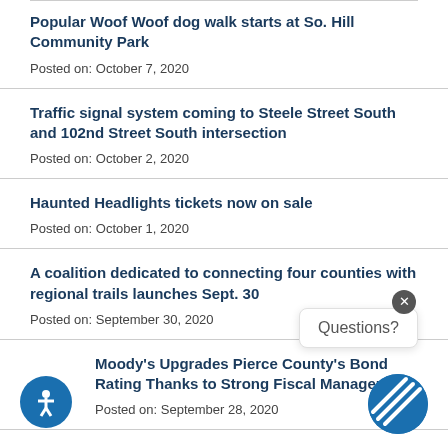Popular Woof Woof dog walk starts at So. Hill Community Park
Posted on: October 7, 2020
Traffic signal system coming to Steele Street South and 102nd Street South intersection
Posted on: October 2, 2020
Haunted Headlights tickets now on sale
Posted on: October 1, 2020
A coalition dedicated to connecting four counties with regional trails launches Sept. 30
Posted on: September 30, 2020
Moody's Upgrades Pierce County's Bond Rating Thanks to Strong Fiscal Management
Posted on: September 28, 2020